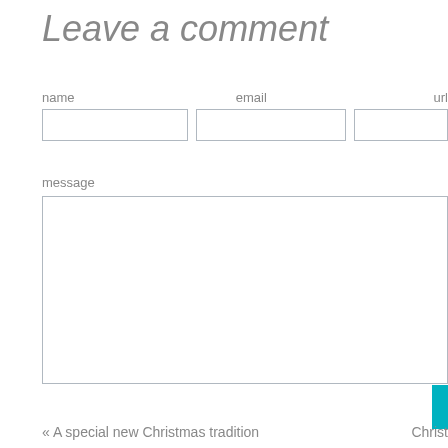Leave a comment
name
email
url
message
« A special new Christmas tradition
Christ